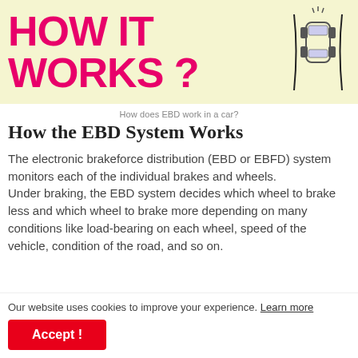[Figure (illustration): Banner with 'HOW IT WORKS?' text in pink/magenta on a pale yellow background and a small car diagram illustration on the right]
How does EBD work in a car?
How the EBD System Works
The electronic brakeforce distribution (EBD or EBFD) system monitors each of the individual brakes and wheels. Under braking, the EBD system decides which wheel to brake less and which wheel to brake more depending on many conditions like load-bearing on each wheel, speed of the vehicle, condition of the road, and so on.
Our website uses cookies to improve your experience. Learn more